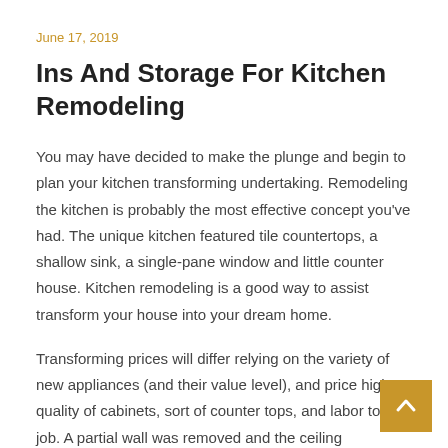June 17, 2019
Ins And Storage For Kitchen Remodeling
You may have decided to make the plunge and begin to plan your kitchen transforming undertaking. Remodeling the kitchen is probably the most effective concept you've had. The unique kitchen featured tile countertops, a shallow sink, a single-pane window and little counter house. Kitchen remodeling is a good way to assist transform your house into your dream home.
Transforming prices will differ relying on the variety of new appliances (and their value level), and price high quality of cabinets, sort of counter tops, and labor to the job. A partial wall was removed and the ceiling